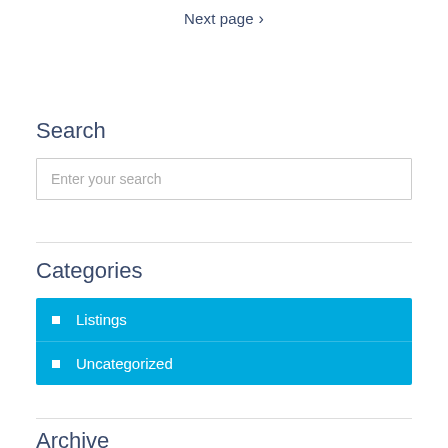Next page ›
Search
Enter your search
Categories
Listings
Uncategorized
Archive